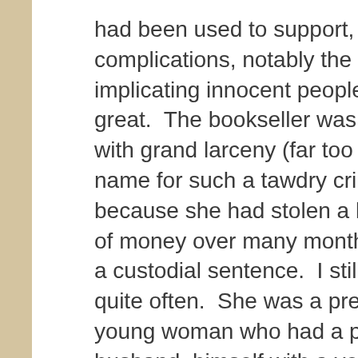had been used to support, because the complications, notably the risk of implicating innocent people, were too great.  The bookseller was charged with grand larceny (far too aristocratic a name for such a tawdry crime) and, because she had stolen a large amount of money over many months, received a custodial sentence.  I still think of this quite often.  She was a pretty, vivacious young woman who had a presentable husband, himself with a very good job.  It came out in court that she was not in